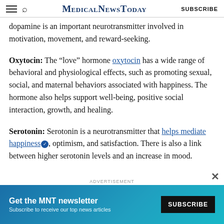MedicalNewsToday | SUBSCRIBE
dopamine is an important neurotransmitter involved in motivation, movement, and reward-seeking.
Oxytocin: The “love” hormone oxytocin has a wide range of behavioral and physiological effects, such as promoting sexual, social, and maternal behaviors associated with happiness. The hormone also helps support well-being, positive social interaction, growth, and healing.
Serotonin: Serotonin is a neurotransmitter that helps mediate happiness, optimism, and satisfaction. There is also a link between higher serotonin levels and an increase in mood.
[Figure (infographic): Advertisement banner for MNT newsletter with text 'Get the MNT newsletter' and 'Subscribe to receive our top news articles' and a SUBSCRIBE button]